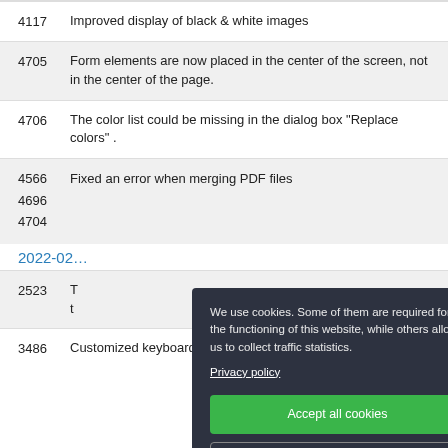4117  Improved display of black & white images
4705  Form elements are now placed in the center of the screen, not in the center of the page.
4706  The color list could be missing in the dialog box "Replace colors" .
4566  Fixed an error when merging PDF files
4696
4704
2022-02
2523  T... t...
3486  Customized keyboard mappings are now saved
[Figure (screenshot): Cookie consent banner with dark background (#2d3240), text reading 'We use cookies. Some of them are required for the functioning of this website, while others allow us to collect traffic statistics.' with a 'Privacy policy' underlined link, a green 'Accept all cookies' button, and a 'Customize cookie settings' outlined button.]